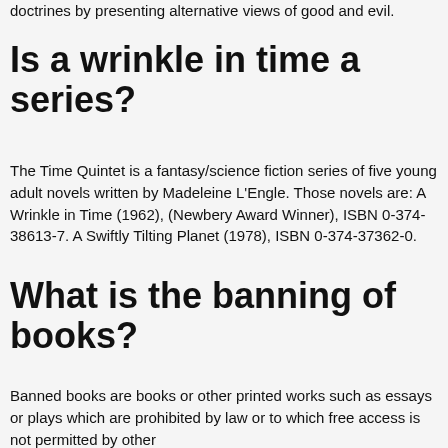doctrines by presenting alternative views of good and evil.
Is a wrinkle in time a series?
The Time Quintet is a fantasy/science fiction series of five young adult novels written by Madeleine L'Engle. Those novels are: A Wrinkle in Time (1962), (Newbery Award Winner), ISBN 0-374-38613-7. A Swiftly Tilting Planet (1978), ISBN 0-374-37362-0.
What is the banning of books?
Banned books are books or other printed works such as essays or plays which are prohibited by law or to which free access is not permitted by other